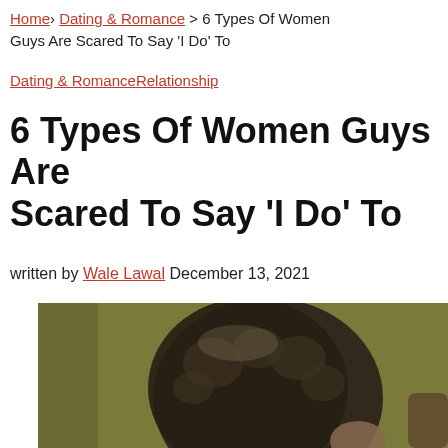Home › Dating & Romance › 6 Types Of Women Guys Are Scared To Say 'I Do' To
Dating & RomanceRelationship
6 Types Of Women Guys Are Scared To Say 'I Do' To
written by Wale Lawal December 13, 2021
[Figure (photo): A person with dark curly hair viewed from the side/back, against an olive/dark yellow-green background. The image is blurred/out of focus. Another figure is partially visible on the right edge.]